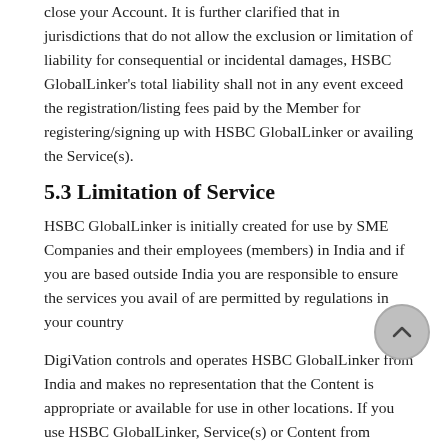close your Account. It is further clarified that in jurisdictions that do not allow the exclusion or limitation of liability for consequential or incidental damages, HSBC GlobalLinker's total liability shall not in any event exceed the registration/listing fees paid by the Member for registering/signing up with HSBC GlobalLinker or availing the Service(s).
5.3 Limitation of Service
HSBC GlobalLinker is initially created for use by SME Companies and their employees (members) in India and if you are based outside India you are responsible to ensure the services you avail of are permitted by regulations in your country
DigiVation controls and operates HSBC GlobalLinker from India and makes no representation that the Content is appropriate or available for use in other locations. If you use HSBC GlobalLinker, Service(s) or Content from